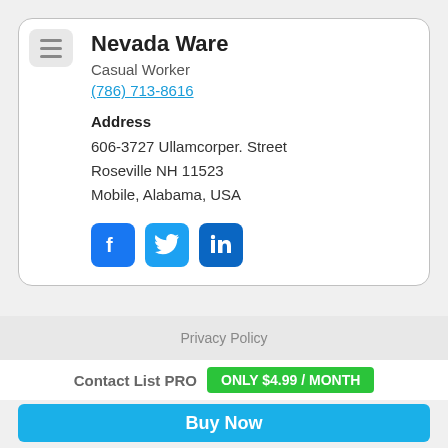Nevada Ware
Casual Worker
(786) 713-8616
Address
606-3727 Ullamcorper. Street
Roseville NH 11523
Mobile, Alabama, USA
[Figure (illustration): Social media icons: Facebook, Twitter, LinkedIn]
Privacy Policy
Contact List PRO  ONLY $4.99 / MONTH
Buy Now